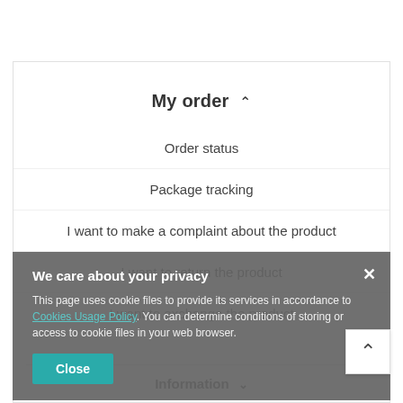My order ^
Order status
Package tracking
I want to make a complaint about the product
I want to return the product
I want to exchange the product
We care about your privacy
This page uses cookie files to provide its services in accordance to Cookies Usage Policy. You can determine conditions of storing or access to cookie files in your web browser.
Close
Information v